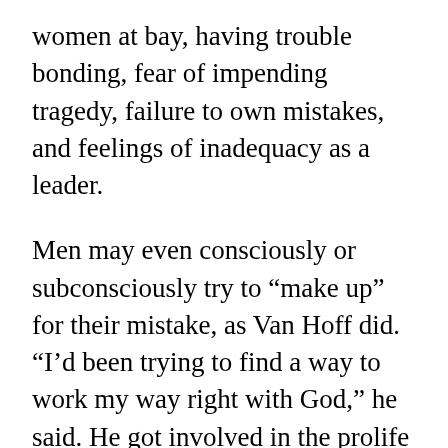women at bay, having trouble bonding, fear of impending tragedy, failure to own mistakes, and feelings of inadequacy as a leader.
Men may even consciously or subconsciously try to “make up” for their mistake, as Van Hoff did. “I’d been trying to find a way to work my way right with God,” he said. He got involved in the prolife movement, working as a sidewalk counselor and even blocking the entrances to abortion clinics. Sidewalk counseling was particularly effective. “I saw success in that, people turned away, and lives were saved,” he said.